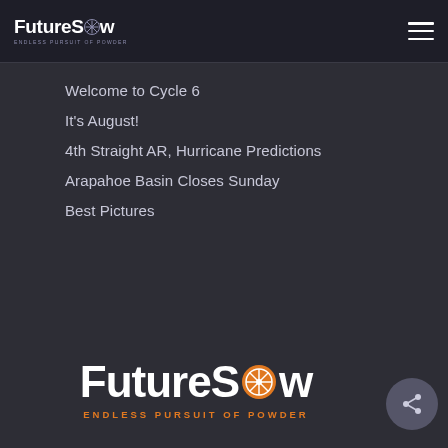FutureSnow ENDLESS PURSUIT OF POWDER
Welcome to Cycle 6
It's August!
4th Straight AR, Hurricane Predictions
Arapahoe Basin Closes Sunday
Best Pictures
[Figure (logo): FutureSnow logo with snowflake icon and tagline ENDLESS PURSUIT OF POWDER in large white and orange text]